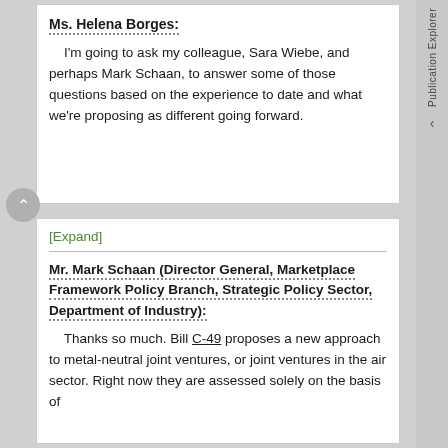Ms. Helena Borges:
I'm going to ask my colleague, Sara Wiebe, and perhaps Mark Schaan, to answer some of those questions based on the experience to date and what we're proposing as different going forward.
[Expand]
Mr. Mark Schaan (Director General, Marketplace Framework Policy Branch, Strategic Policy Sector, Department of Industry):
Thanks so much. Bill C-49 proposes a new approach to metal-neutral joint ventures, or joint ventures in the air sector. Right now they are assessed solely on the basis of